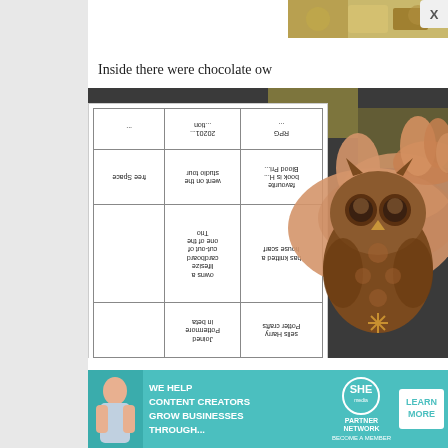[Figure (photo): Top strip photo showing food/chocolate items in yellow-brown tones]
Inside there were chocolate ow...
[Figure (photo): A hand holding a chocolate owl-shaped candy, with a bingo card visible in the background. The bingo card is rotated/upside-down showing Harry Potter themed categories including: 'sells Harry Potter crafts', 'Joined Pottermore in beta', 'has knitted a house scarf', 'owns a lifesize cardboard cut-out of one of the Trio', 'went on the studio tour', 'favourite book is H... Blood Pri...', 'free Space', '20201...', 'RPG']
[Figure (infographic): Advertisement banner: WE HELP CONTENT CREATORS GROW BUSINESSES THROUGH... | SHE MEDIA PARTNER NETWORK BECOME A MEMBER | LEARN MORE button | X close button]